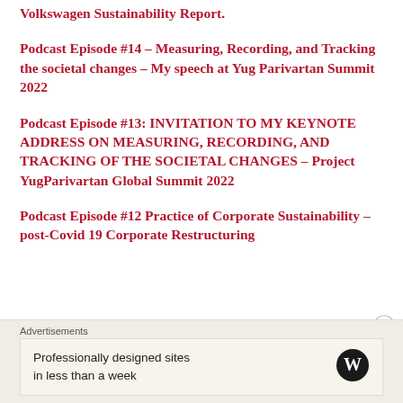Volkswagen Sustainability Report.
Podcast Episode #14 – Measuring, Recording, and Tracking the societal changes – My speech at Yug Parivartan Summit 2022
Podcast Episode #13: INVITATION TO MY KEYNOTE ADDRESS ON MEASURING, RECORDING, AND TRACKING OF THE SOCIETAL CHANGES – Project YugParivartan Global Summit 2022
Podcast Episode #12 Practice of Corporate Sustainability – post-Covid 19 Corporate Restructuring
Advertisements
Professionally designed sites in less than a week